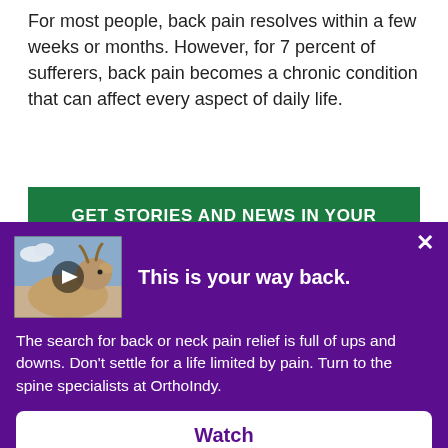For most people, back pain resolves within a few weeks or months. However, for 7 percent of sufferers, back pain becomes a chronic condition that can affect every aspect of daily life.
[Figure (screenshot): Green banner with white bold text reading GET STORIES AND NEWS IN YOUR]
[Figure (screenshot): Purple popup overlay with close X button, a video thumbnail of a goat with a play button, headline 'This is your way back.', body text about spine specialists at OrthoIndy, and a Watch button]